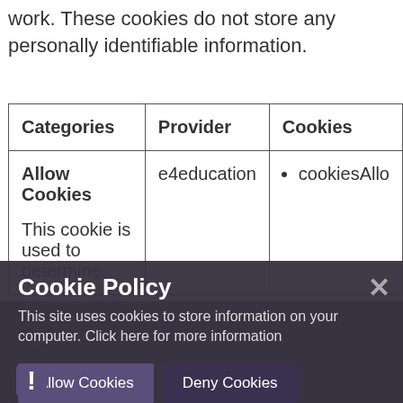work. These cookies do not store any personally identifiable information.
| Categories | Provider | Cookies |
| --- | --- | --- |
| Allow Cookies

This cookie is used to determine whether the user a... cookies... | e4education | • cookiesAllo... |
[Figure (screenshot): Cookie Policy popup overlay with title 'Cookie Policy', text 'This site uses cookies to store information on your computer. Click here for more information', and two buttons: 'Allow Cookies' and 'Deny Cookies'. A close (x) button is at top right. An exclamation icon is at bottom left.]